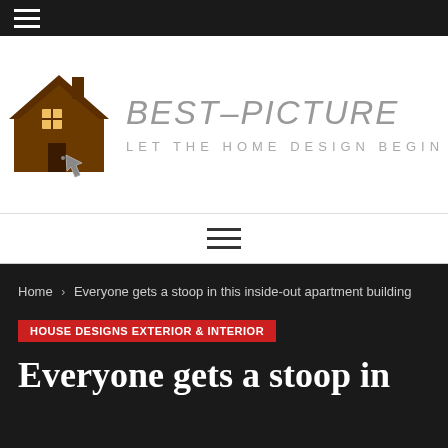≡ (hamburger menu icon)
[Figure (logo): Best-Picture website logo: brown house icon with 'BEST-PICTURE' text and tagline 'LET THE HOME DESIGN BEGIN']
≡ (navigation hamburger menu)
Home › Everyone gets a stoop in this inside-out apartment building
HOUSE DESIGNS EXTERIOR & INTERIOR
Everyone gets a stoop in